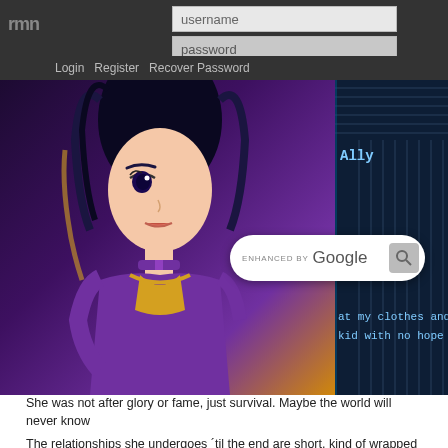rmn
username
password
Login   Register   Recover Password
[Figure (screenshot): Game screenshot showing an anime character with purple outfit and blue hair on a dark blue cyberpunk background. A Google search bar overlay is visible. Game dialog text reads 'Ally' and 'at my clothes and hair. kid with no hope or futu']
She was not after glory or fame, just survival. Maybe the world will never know
The relationships she undergoes ´til the end are short, kind of wrapped up. I fee the characters involved.
Show
Overall good for the game´s length, in a few words.
Soundtrack - graphic design and concept of art
Very good,definitely. Characters with different expressions, Ally´s body appearin game´s own aesthetics when compared to the generic rpg game.